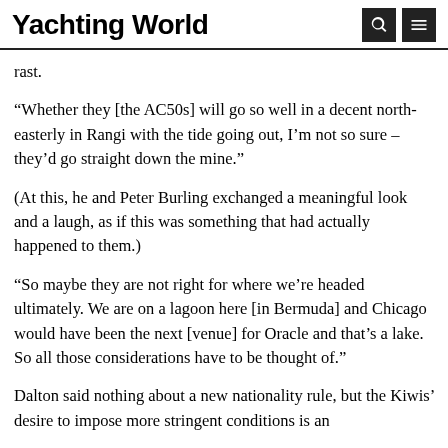Yachting World
rast.
“Whether they [the AC50s] will go so well in a decent north-easterly in Rangi with the tide going out, I’m not so sure – they’d go straight down the mine.”
(At this, he and Peter Burling exchanged a meaningful look and a laugh, as if this was something that had actually happened to them.)
“So maybe they are not right for where we’re headed ultimately. We are on a lagoon here [in Bermuda] and Chicago would have been the next [venue] for Oracle and that’s a lake. So all those considerations have to be thought of.”
Dalton said nothing about a new nationality rule, but the Kiwis’ desire to impose more stringent conditions is an